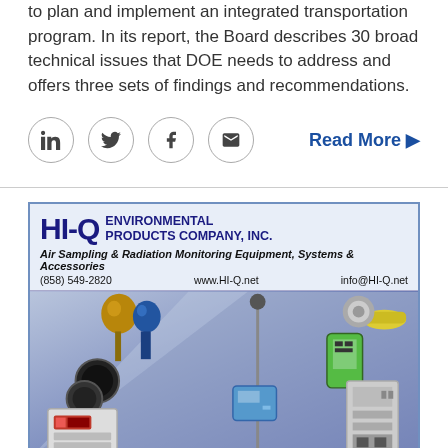to plan and implement an integrated transportation program. In its report, the Board describes 30 broad technical issues that DOE needs to address and offers three sets of findings and recommendations.
[Figure (other): Social media share icons (LinkedIn, Twitter, Facebook, Email) and a Read More link]
[Figure (other): Advertisement for HI-Q Environmental Products Company, Inc. Air Sampling & Radiation Monitoring Equipment, Systems & Accessories. Phone: (858) 549-2820, Website: www.HI-Q.net, Email: info@HI-Q.net. Image shows various air sampling and radiation monitoring equipment.]